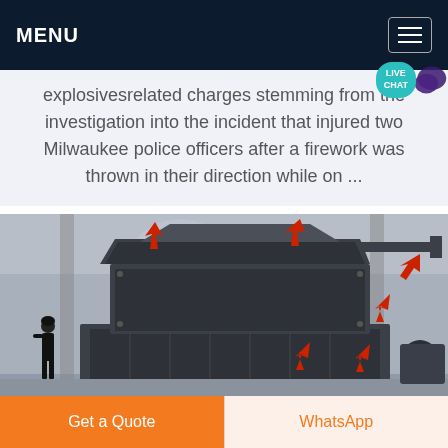MENU
explosivesrelated charges stemming from the investigation into the incident that injured two Milwaukee police officers after a firework was thrown in their direction while on ...
[Figure (photo): Large industrial impact crusher machine, dark gray/black metal, with orange/red arrow markers pointing to various parts. A person in black stands to the left for scale. Industrial warehouse background.]
Get a Quote
WhatsApp